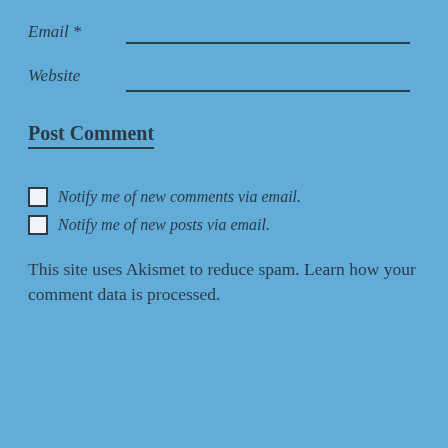Email *
Website
Post Comment
Notify me of new comments via email.
Notify me of new posts via email.
This site uses Akismet to reduce spam. Learn how your comment data is processed.